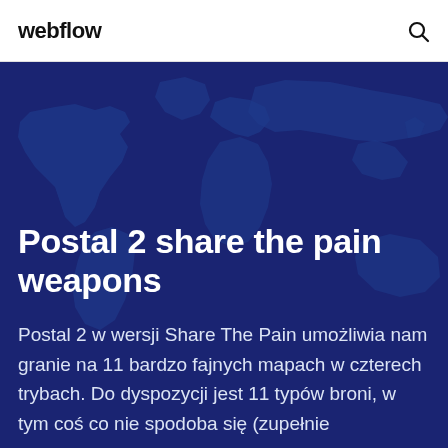webflow
[Figure (illustration): Dark blue world map background illustration on hero section]
Postal 2 share the pain weapons
Postal 2 w wersji Share The Pain umożliwia nam granie na 11 bardzo fajnych mapach w czterech trybach. Do dyspozycji jest 11 typów broni, w tym coś co nie spodoba się (zupełnie